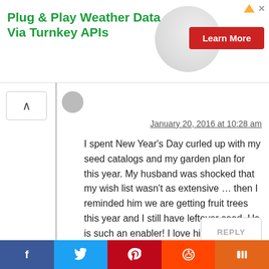[Figure (screenshot): Advertisement banner: 'Plug & Play Weather Data Via Turnkey APIs' with a red 'Learn More' button and a globe/circle graphic in the background. Small arrow and X icons in top right corner.]
January 20, 2016 at 10:28 am
I spent New Year's Day curled up with my seed catalogs and my garden plan for this year. My husband was shocked that my wish list wasn't as extensive … then I reminded him we are getting fruit trees this year and I still have leftover seed. He is such an enabler! I love him!
[Figure (screenshot): REPLY button]
[Figure (infographic): Social share bar with Facebook (blue), Twitter (light blue), Pinterest (dark red), Reddit (orange-red), and Mix (orange) buttons at the bottom of the page.]